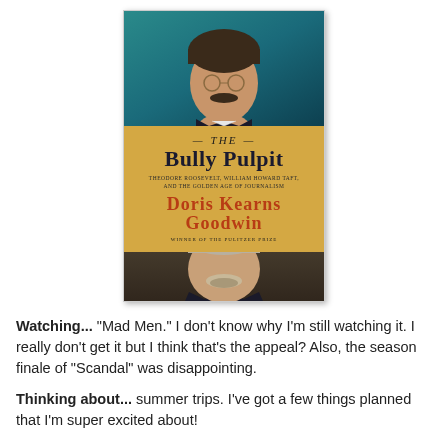[Figure (illustration): Book cover of 'The Bully Pulpit: Theodore Roosevelt, William Howard Taft, and the Golden Age of Journalism' by Doris Kearns Goodwin, Winner of the Pulitzer Prize. The cover shows two portrait photographs — Theodore Roosevelt at the top against a teal/dark background, and William Howard Taft at the bottom against a dark background — with a golden title band in the middle.]
Watching... "Mad Men." I don't know why I'm still watching it. I really don't get it but I think that's the appeal? Also, the season finale of "Scandal" was disappointing.
Thinking about... summer trips. I've got a few things planned that I'm super excited about!